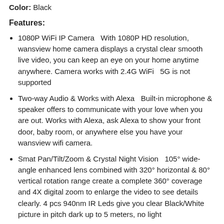Color: Black
Features:
1080P WiFi IP Camera   With 1080P HD resolution, wansview home camera displays a crystal clear smooth live video, you can keep an eye on your home anytime anywhere. Camera works with 2.4G WiFi   5G is not supported
Two-way Audio & Works with Alexa   Built-in microphone & speaker offers to communicate with your love when you are out. Works with Alexa, ask Alexa to show your front door, baby room, or anywhere else you have your wansview wifi camera.
Smat Pan/Tilt/Zoom & Crystal Night Vision   105° wide-angle enhanced lens combined with 320° horizontal & 80° vertical rotation range create a complete 360° coverage and 4X digital zoom to enlarge the video to see details clearly. 4 pcs 940nm IR Leds give you clear Black/White picture in pitch dark up to 5 meters, no light